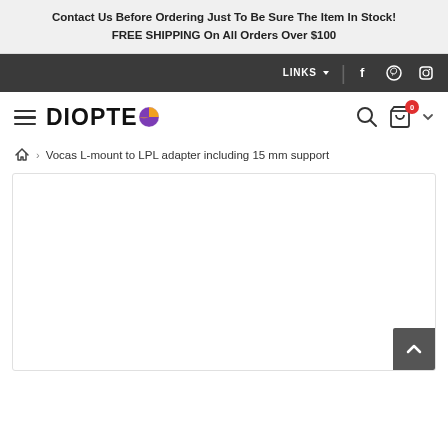Contact Us Before Ordering Just To Be Sure The Item In Stock!
FREE SHIPPING On All Orders Over $100
LINKS  f  pinterest  instagram
DIOPTEO  [search] [cart 0]
Vocas L-mount to LPL adapter including 15 mm support
[Figure (photo): Product image area - white background placeholder for product photo of Vocas L-mount to LPL adapter including 15 mm support]